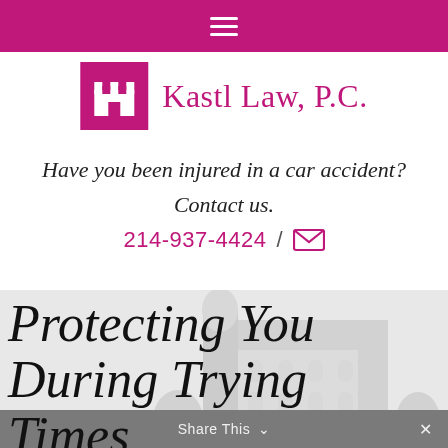Navigation menu bar
[Figure (logo): Kastl Law P.C. logo with magenta castle icon and text 'Kastl Law, P.C.']
Have you been injured in a car accident? Contact us.
214-937-4424 / [email icon]
Protecting You During Trying Times
Share This ∨  ×